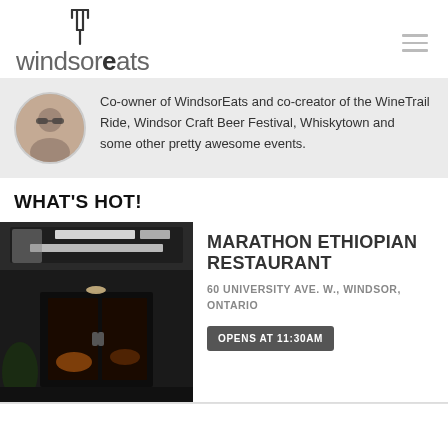[Figure (logo): WindsorEats logo with fork icon above stylized text 'windsorEats']
Co-owner of WindsorEats and co-creator of the WineTrail Ride, Windsor Craft Beer Festival, Whiskytown and some other pretty awesome events.
WHAT'S HOT!
[Figure (photo): Photo of Marathon Ethiopian Restaurant exterior showing signage 'WORLD ETHIOPIAN RESTAURANT 20...' at night]
MARATHON ETHIOPIAN RESTAURANT
60 UNIVERSITY AVE. W., WINDSOR, ONTARIO
OPENS AT 11:30AM